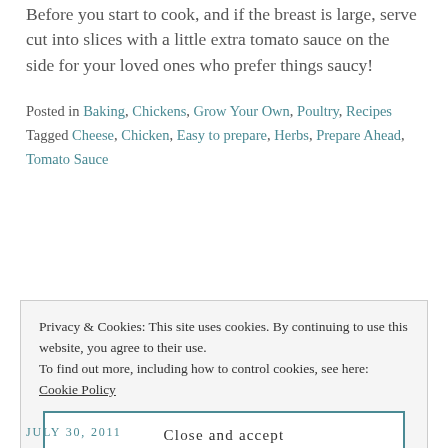Before you start to cook, and if the breast is large, serve cut into slices with a little extra tomato sauce on the side for your loved ones who prefer things saucy!
Posted in Baking, Chickens, Grow Your Own, Poultry, Recipes
Tagged Cheese, Chicken, Easy to prepare, Herbs, Prepare Ahead, Tomato Sauce
Privacy & Cookies: This site uses cookies. By continuing to use this website, you agree to their use.
To find out more, including how to control cookies, see here: Cookie Policy
[Close and accept]
JULY 30, 2011